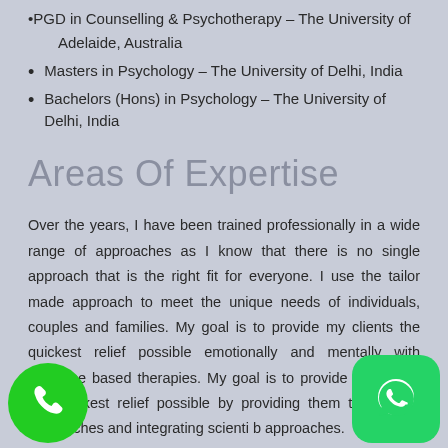PGD in Counselling & Psychotherapy – The University of Adelaide, Australia
Masters in Psychology – The University of Delhi, India
Bachelors (Hons) in Psychology – The University of Delhi, India
Areas Of Expertise
Over the years, I have been trained professionally in a wide range of approaches as I know that there is no single approach that is the right fit for everyone. I use the tailor made approach to meet the unique needs of individuals, couples and families. My goal is to provide my clients the quickest relief possible emotionally and mentally with evidence based therapies. My goal is to provide my clients the quickest relief possible by providing them therapeutic approaches and integrating scienti based approaches.